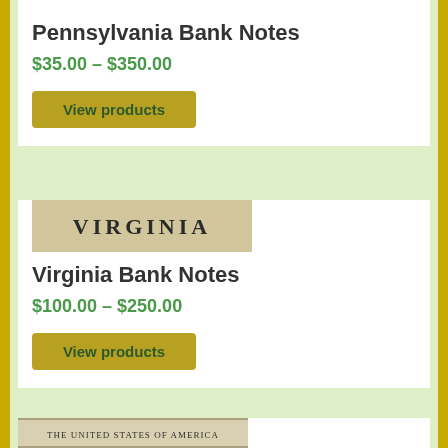Pennsylvania Bank Notes
$35.00 – $350.00
View products
[Figure (photo): VIRGINIA banner image on aged paper background]
Virginia Bank Notes
$100.00 – $250.00
View products
[Figure (photo): THE UNITED STATES OF AMERICA bank note image at bottom]